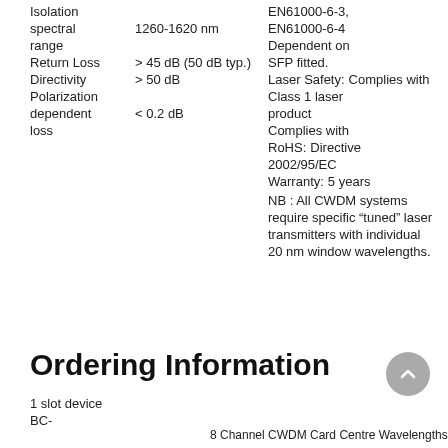Isolation spectral range
1260-1620 nm
Return Loss > 45 dB (50 dB typ.)
Directivity > 50 dB
Polarization dependent loss < 0.2 dB
EN61000-6-3, EN61000-6-4
Dependent on SFP fitted.
Laser Safety: Complies with Class 1 laser product
Complies with
RoHS: Directive 2002/95/EC
Warranty: 5 years
NB : All CWDM systems require specific “tuned” laser transmitters with individual 20 nm window wavelengths.
Ordering Information
1 slot device
BC-
8 Channel CWDM Card Centre Wavelengths